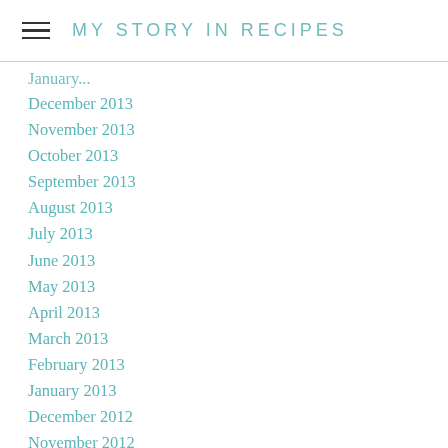MY STORY IN RECIPES
December 2013
November 2013
October 2013
September 2013
August 2013
July 2013
June 2013
May 2013
April 2013
March 2013
February 2013
January 2013
December 2012
November 2012
October 2012
September 2012
August 2012